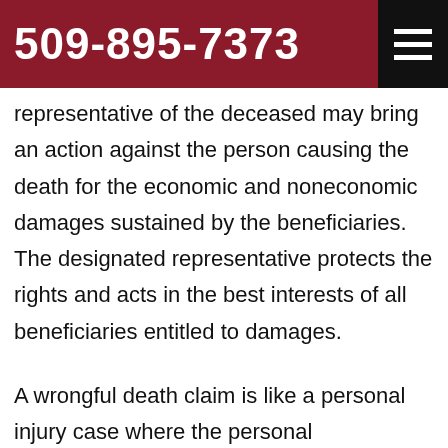509-895-7373
representative of the deceased may bring an action against the person causing the death for the economic and noneconomic damages sustained by the beneficiaries. The designated representative protects the rights and acts in the best interests of all beneficiaries entitled to damages.
A wrongful death claim is like a personal injury case where the personal representative of the deceased person seeks compensation since the deceased can no longer do so. Wrongful death